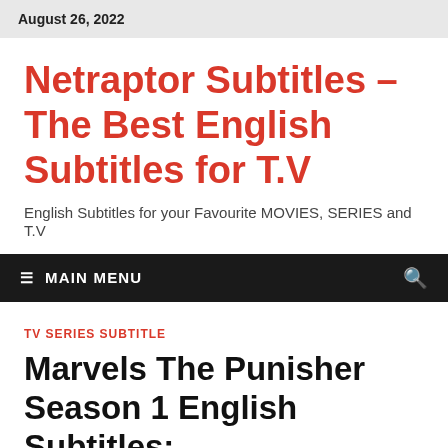August 26, 2022
Netraptor Subtitles – The Best English Subtitles for T.V
English Subtitles for your Favourite MOVIES, SERIES and T.V
≡ MAIN MENU
TV SERIES SUBTITLE
Marvels The Punisher Season 1 English Subtitles: